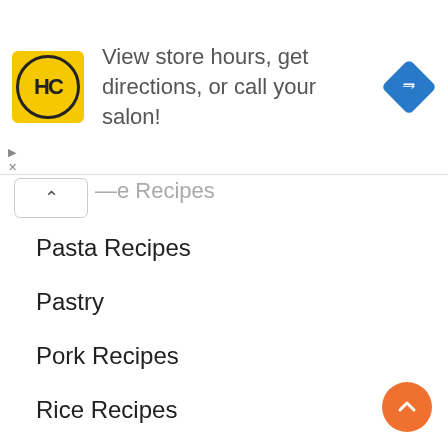[Figure (other): Advertisement banner for a hair salon (HC logo) with text 'View store hours, get directions, or call your salon!' and a blue navigation arrow icon on the right.]
Pasta Recipes
Pastry
Pork Recipes
Rice Recipes
Salad Recipe
Sauces
Seafood
Snacks